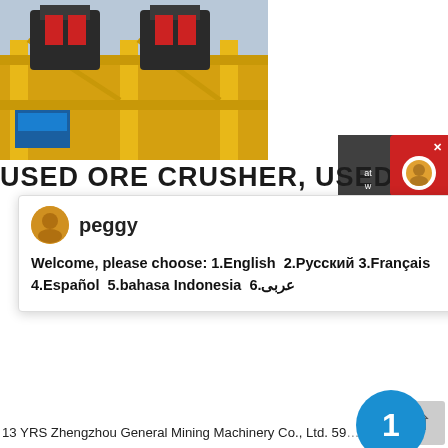[Figure (photo): Industrial ore crusher machinery on yellow steel frame structure in a factory setting]
USED ORE CRUSHER, USED ORE
[Figure (screenshot): Chat popup with avatar labeled 'peggy' and message: Welcome, please choose: 1.English 2.Русский 3.Français 4.Español 5.bahasa Indonesia 6.عربى, with an X close button]
13 YRS Zhengzhou General Mining Machinery Co., Ltd. 59... Contact Supplier. Compare. The jaw crusher is widely used in mining, metall-urgical industry, building material, highway, railway, and chemical industry.
get price
[Figure (photo): Industrial conveyor belt equipment on yellow structure against blue sky]